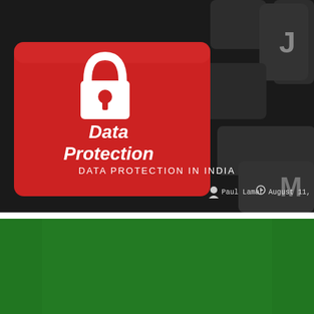[Figure (photo): Close-up photograph of a dark keyboard with a prominent red key featuring a white padlock icon and the text 'Data Protection' in white. Other dark keys are visible around it. Overlay text reads 'DATA PROTECTION IN INDIA' with author 'Paul Lamar' and date 'August 11, 2022'.]
DATA PROTECTION IN INDIA
Paul Lamar   August 11, 2022
[Figure (photo): Solid dark green rectangle, bottom portion of a page, likely a continuation of a green-themed graphic or banner.]